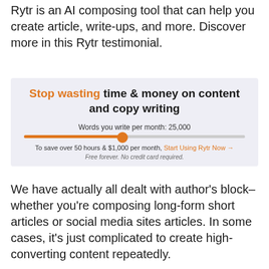Rytr is an AI composing tool that can help you create article, write-ups, and more. Discover more in this Rytr testimonial.
[Figure (screenshot): Rytr promotional banner with orange and dark text reading 'Stop wasting time & money on content and copy writing', a slider showing 'Words you write per month: 25,000', and a call-to-action 'Start Using Rytr Now →'. Sub-text reads 'Free forever. No credit card required.']
We have actually all dealt with author's block– whether you're composing long-form short articles or social media sites articles. In some cases, it's just complicated to create high-converting content repeatedly.